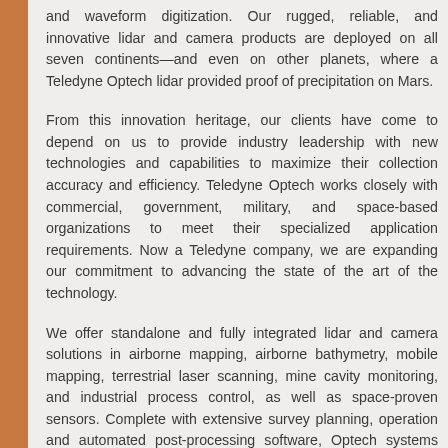and waveform digitization. Our rugged, reliable, and innovative lidar and camera products are deployed on all seven continents&mdash;and even on other planets, where a Teledyne Optech lidar provided proof of precipitation on Mars.
From this innovation heritage, our clients have come to depend on us to provide industry leadership with new technologies and capabilities to maximize their collection accuracy and efficiency. Teledyne Optech works closely with commercial, government, military, and space-based organizations to meet their specialized application requirements. Now a Teledyne company, we are expanding our commitment to advancing the state of the art of the technology.
We offer standalone and fully integrated lidar and camera solutions in airborne mapping, airborne bathymetry, mobile mapping, terrestrial laser scanning, mine cavity monitoring, and industrial process control, as well as space-proven sensors. Complete with extensive survey planning, operation and automated post-processing software, Optech systems enable clients to collect, manage and deliver survey data to their